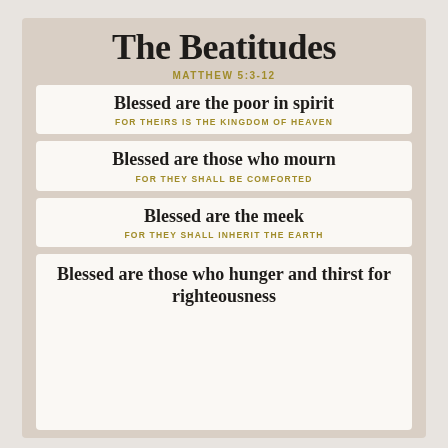The Beatitudes
MATTHEW 5:3-12
Blessed are the poor in spirit / FOR THEIRS IS THE KINGDOM OF HEAVEN
Blessed are those who mourn / FOR THEY SHALL BE COMFORTED
Blessed are the meek / FOR THEY SHALL INHERIT THE EARTH
Blessed are those who hunger and thirst for righteousness